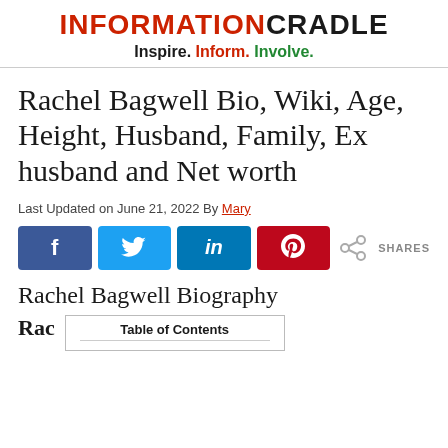INFORMATIONCRADLE — Inspire. Inform. Involve.
Rachel Bagwell Bio, Wiki, Age, Height, Husband, Family, Ex husband and Net worth
Last Updated on June 21, 2022 By Mary
[Figure (infographic): Social share buttons: Facebook (blue), Twitter (light blue), LinkedIn (dark blue), Pinterest (red), and a share icon with SHARES label]
Rachel Bagwell Biography
Rac
[Figure (other): Table of Contents box (partially visible)]